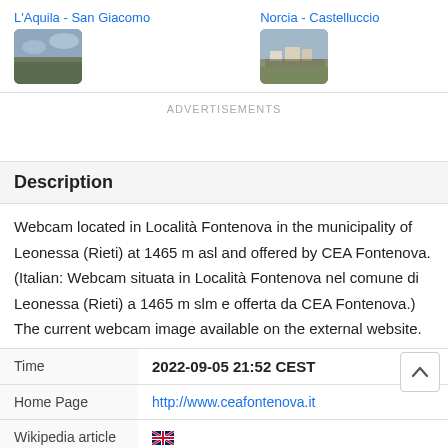[Figure (photo): Thumbnail of L'Aquila - San Giacomo viewpoint]
L'Aquila - San Giacomo
[Figure (photo): Thumbnail of Norcia - Castelluccio viewpoint]
Norcia - Castelluccio
ADVERTISEMENTS
Description
Webcam located in Località Fontenova in the municipality of Leonessa (Rieti) at 1465 m asl and offered by CEA Fontenova. (Italian: Webcam situata in Località Fontenova nel comune di Leonessa (Rieti) a 1465 m slm e offerta da CEA Fontenova.) The current webcam image available on the external website.
|  |  |
| --- | --- |
| Time | 2022-09-05 21:52 CEST |
| Home Page | http://www.ceafontenova.it |
| Wikipedia article |  |